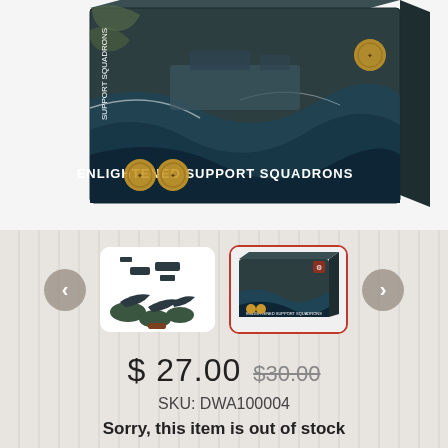[Figure (photo): Product photo of 'Enlightened Support Squadrons' board game/miniatures box, showing naval battle scene on the box cover with ships in stormy seas. Box has gold circular logos/badges on it.]
[Figure (photo): Thumbnail 1: miniature game pieces laid out - small ship models and oval bases on white background]
[Figure (photo): Thumbnail 2 (active/selected): box cover of Enlightened Support Squadrons product, shown with orange/red border]
$ 27.00  $30.00
SKU: DWA100004
Sorry, this item is out of stock